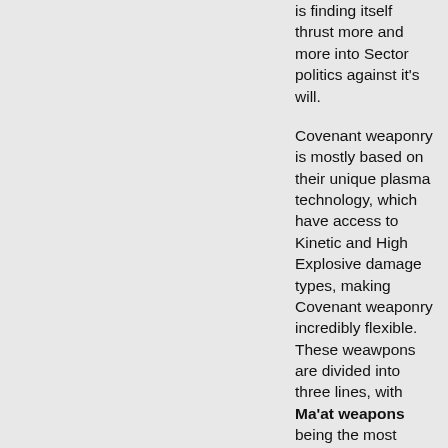is finding itself thrust more and more into Sector politics against it's will.

Covenant weaponry is mostly based on their unique plasma technology, which have access to Kinetic and High Explosive damage types, making Covenant weaponry incredibly flexible. These weawpons are divided into three lines, with Ma'at weapons being the most common. Ma'at weapons are either slow firing but powerful, or fast firing and weak per shot, however once the initial capacitors are used up the rate of fire is drastically reduced. Ka weapons are more effective, with greater punch and better ranges, but are restricted by their awkward magazine fod...